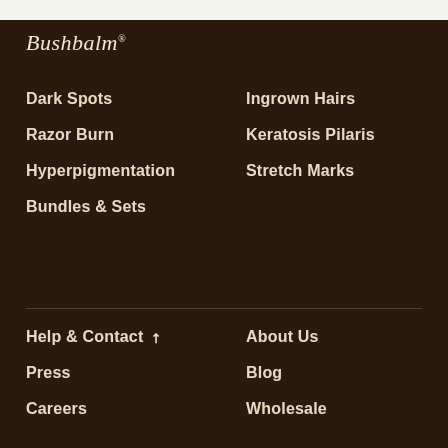[Figure (logo): Bushbalm script logo with registered trademark symbol]
Dark Spots
Ingrown Hairs
Razor Burn
Keratosis Pilaris
Hyperpigmentation
Stretch Marks
Bundles & Sets
Help & Contact ↗
About Us
Press
Blog
Careers
Wholesale